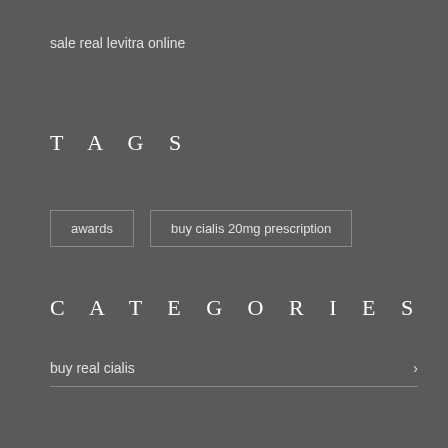sale real levitra online
TAGS
awards
buy cialis 20mg prescription
CATEGORIES
buy real cialis